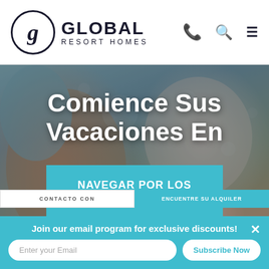Global Resort Homes logo with navigation icons (phone, search, menu)
Comience Sus Vacaciones En
NAVEGAR POR LOS ALQUILERES
CONTACTO CON
ENCUENTRE SU ALQUILER
Join our email program for exclusive discounts!
Enter your Email
Subscribe Now